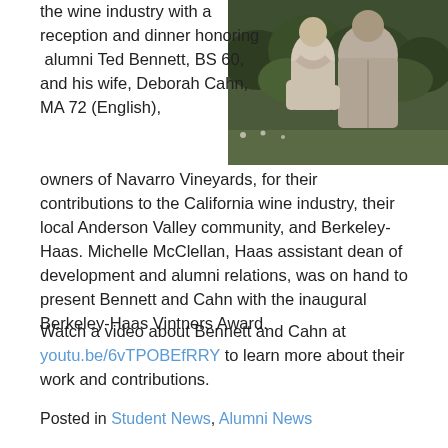[Figure (photo): Two people standing together outdoors, with greenery in the background.]
the wine industry with a reception and dinner honoring  alumni Ted Bennett, BS 60, and his wife, Deborah Cahn, MA 72 (English), owners of Navarro Vineyards, for their contributions to the California wine industry, their local Anderson Valley community, and Berkeley-Haas. Michelle McClellan, Haas assistant dean of development and alumni relations, was on hand to present Bennett and Cahn with the inaugural Berkeley-Haas Vintners Award.
Watch a video about Bennett and Cahn at youtu.be/6vTPOBEfRRY to learn more about their work and contributions.
Posted in Student News, Alumni News